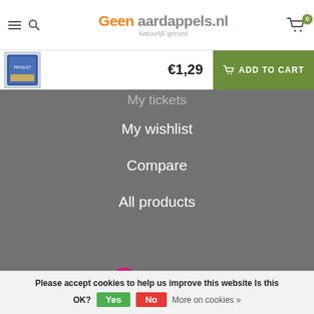Geen aardappels.nl — Natuurlijk gezond
[Figure (screenshot): Product thumbnail of a blue snack/food bag]
€1,29  ADD TO CART
My tickets
My wishlist
Compare
All products
[Figure (logo): Webwinkel KEUR logo with pink checkmark circle]
Please accept cookies to help us improve this website Is this OK?  Yes  No  More on cookies »